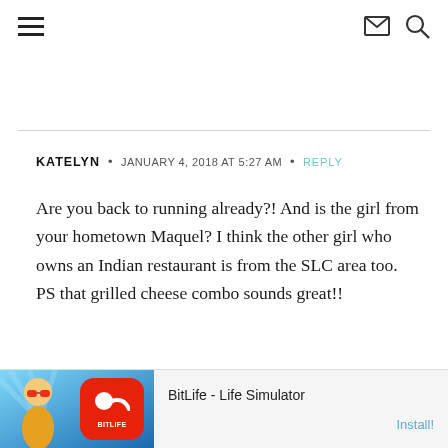Navigation header with hamburger menu, envelope icon, and search icon
KATELYN · JANUARY 4, 2018 AT 5:27 AM · REPLY
Are you back to running already?! And is the girl from your hometown Maquel? I think the other girl who owns an Indian restaurant is from the SLC area too. PS that grilled cheese combo sounds great!!
[Figure (screenshot): Advertisement banner for BitLife - Life Simulator app with cartoon character, red app icon with sperm logo, app title and Install button]